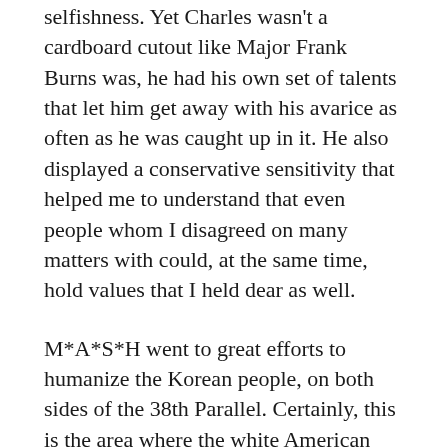selfishness. Yet Charles wasn't a cardboard cutout like Major Frank Burns was, he had his own set of talents that let him get away with his avarice as often as he was caught up in it. He also displayed a conservative sensitivity that helped me to understand that even people whom I disagreed on many matters with could, at the same time, hold values that I held dear as well.
M*A*S*H went to great efforts to humanize the Korean people, on both sides of the 38th Parallel. Certainly, this is the area where the white American view of Asians is the most problematic, but it was clear that the writers made great efforts to highlight the predominantly white character's supremacist and colonial attitudes and expose them for what they were. The Korean people were portrayed as having lives that were valuable even as they were different and often similar...